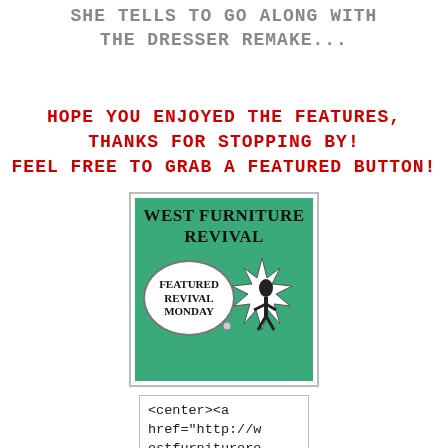SHE TELLS TO GO ALONG WITH THE DRESSER REMAKE...
HOPE YOU ENJOYED THE FEATURES, THANKS FOR STOPPING BY! FEEL FREE TO GRAB A FEATURED BUTTON!
[Figure (illustration): West Furniture Revival featured revival monday button with green background, speech bubble and starburst logo]
<center><a href="http://westfurniturere